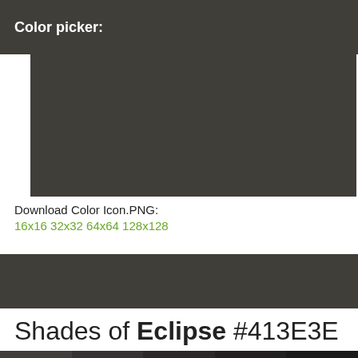Color picker:
[Figure (other): Dark olive/charcoal color preview swatch area]
Download Color Icon.PNG:
16x16 32x32 64x64 128x128
[Figure (other): Shades banner bar in dark olive/charcoal color]
Shades of Eclipse #413E3E
| #413E3E | #343232 | #2A2828 | #222020 | #1B1A1A |
| --- | --- | --- | --- | --- |